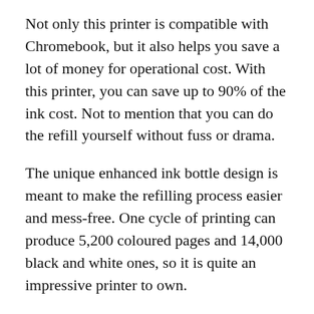Not only this printer is compatible with Chromebook, but it also helps you save a lot of money for operational cost. With this printer, you can save up to 90% of the ink cost. Not to mention that you can do the refill yourself without fuss or drama.
The unique enhanced ink bottle design is meant to make the refilling process easier and mess-free. One cycle of printing can produce 5,200 coloured pages and 14,000 black and white ones, so it is quite an impressive printer to own.
Thanks to the WiFi connectivity and handy supporting apps, you should have no problems printing from any mobile device you have – and that includes Chromebook. Let's not forget that this is a multifunctional device, which means that you can make use of it not only to print but to scan and make